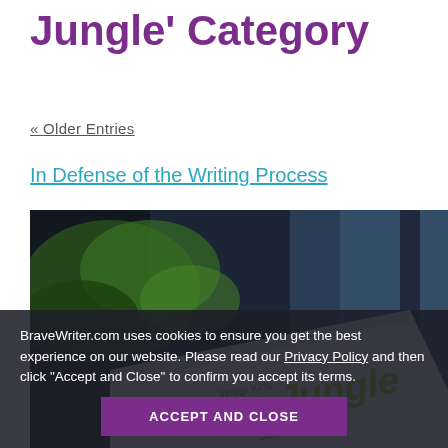Jungle' Category
« Older Entries
In Defense of the Writing Process
[Figure (photo): Close-up photo of a book or card with the word 'jungle' printed in yellow-green text, set against a dark blurred background with green foliage.]
BraveWriter.com uses cookies to ensure you get the best experience on our website. Please read our Privacy Policy and then click “Accept and Close” to confirm you accept its terms.
ACCEPT AND CLOSE